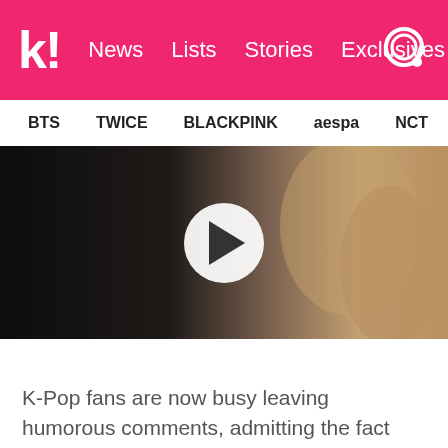k! News Lists Stories Exclusives
BTS TWICE BLACKPINK aespa NCT IVE SHIN...
[Figure (screenshot): Video thumbnail showing close-up of fabric/clothing on a dark background with a white circle play button in the center]
K-Pop fans are now busy leaving humorous comments, admitting the fact this commercial is playing on repeat. Cha Eunwoo has them 200% convinced that these seasoning packs are must-buys! Looks like Cha Eunwoo stans will be ordering chicken for dinner every night for a